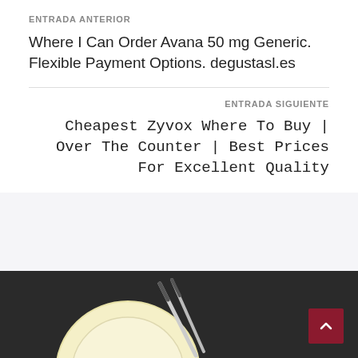ENTRADA ANTERIOR
Where I Can Order Avana 50 mg Generic. Flexible Payment Options. degustasl.es
ENTRADA SIGUIENTE
Cheapest Zyvox Where To Buy | Over The Counter | Best Prices For Excellent Quality
[Figure (illustration): Partial view of a plate with chopsticks on a dark background, restaurant/food website footer illustration]